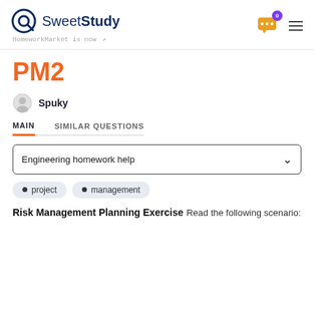SweetStudy — HomeworkMarket is now
PM2
Spuky
MAIN   SIMILAR QUESTIONS
Engineering homework help
project
management
Risk Management Planning Exercise
Read the following scenario: